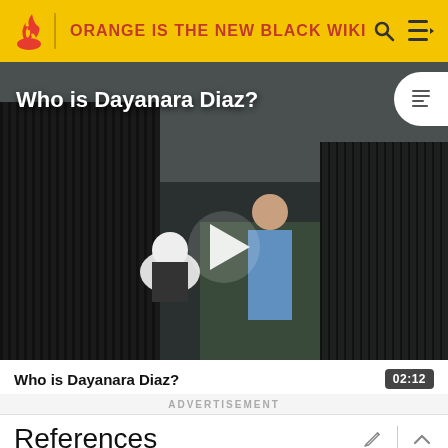ORANGE IS THE NEW BLACK WIKI
[Figure (screenshot): Video thumbnail showing two people near a prison fence. One person in a white shirt crouches, another in blue prison uniform stands. Play button overlay. Title: Who is Dayanara Diaz?]
Who is Dayanara Diaz? 02:12
ADVERTISEMENT
References